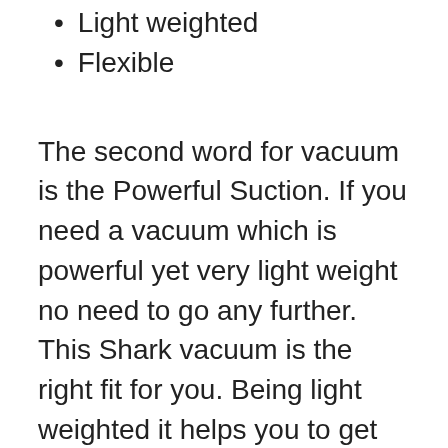Light weighted
Flexible
The second word for vacuum is the Powerful Suction. If you need a vacuum which is powerful yet very light weight no need to go any further. This Shark vacuum is the right fit for you. Being light weighted it helps you to get your cleaning job done very easily. You will be surprised by the suction power of the motor. Read further to know the details of the product.
Unlike the traditional vacuum the vacuum has a Duo Clean technology. It helps you to clean the carpets and the hard floors without even changing any tools. It works unstoppable. You need not stop your work. It